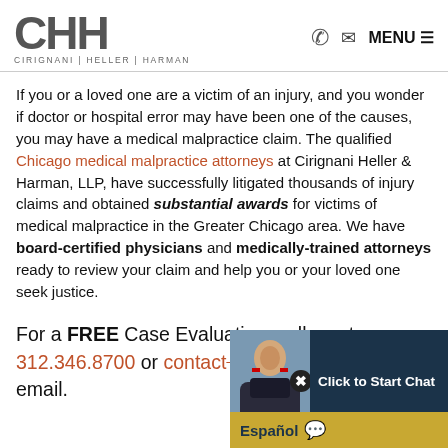CHH CIRIGNANI | HELLER | HARMAN — MENU
If you or a loved one are a victim of an injury, and you wonder if doctor or hospital error may have been one of the causes, you may have a medical malpractice claim. The qualified Chicago medical malpractice attorneys at Cirignani Heller & Harman, LLP, have successfully litigated thousands of injury claims and obtained substantial awards for victims of medical malpractice in the Greater Chicago area. We have board-certified physicians and medically-trained attorneys ready to review your claim and help you or your loved one seek justice.
For a FREE Case Evaluation, call us at 312.346.8700 or contact us today via email.
[Figure (screenshot): Chat widget overlay with photo of attorney and 'Click to Start Chat' button, plus Español option bar.]